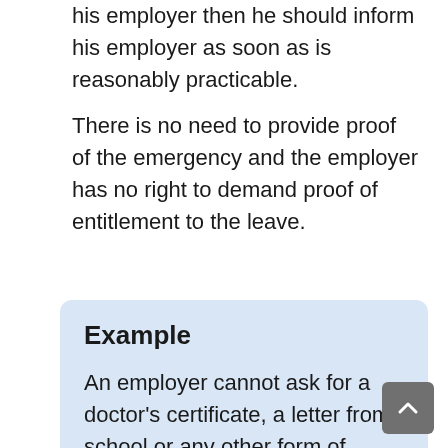his employer then he should inform his employer as soon as is reasonably practicable.
There is no need to provide proof of the emergency and the employer has no right to demand proof of entitlement to the leave.
Example
An employer cannot ask for a doctor's certificate, a letter from school or any other form of evidence if an employee has to leave work to attend to a family emergency.